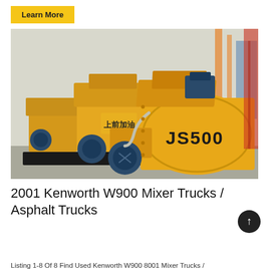Learn More
[Figure (photo): A row of yellow JS500 concrete mixer machines lined up outdoors. The machines are industrial twin-shaft concrete mixers, painted bright yellow, with blue electric motors, corrugated hoses, and heavy steel frames. The text 'JS500' is visible on the drum of the nearest machine. Red scaffolding and cranes are visible in the background.]
2001 Kenworth W900 Mixer Trucks / Asphalt Trucks
Listing 1-8 Of 8 Find Used Kenworth W900 8001 Mixer Trucks /